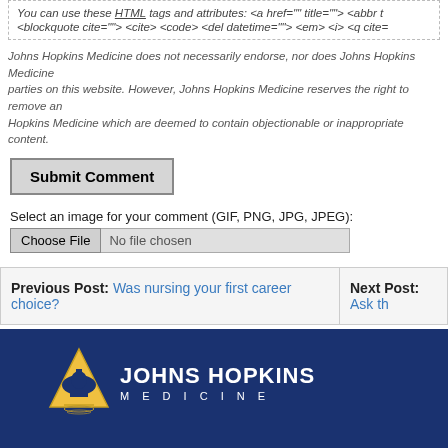You can use these HTML tags and attributes: <a href="" title=""> <abbr t... <blockquote cite=""> <cite> <code> <del datetime=""> <em> <i> <q cite=...
Johns Hopkins Medicine does not necessarily endorse, nor does Johns Hopkins Medicine ... parties on this website. However, Johns Hopkins Medicine reserves the right to remove an... Hopkins Medicine which are deemed to contain objectionable or inappropriate content.
Submit Comment
Select an image for your comment (GIF, PNG, JPG, JPEG):
Choose File   No file chosen
Previous Post: Was nursing your first career choice?
Next Post: Ask th...
[Figure (logo): Johns Hopkins Medicine logo with dome icon on blue background]
© The Johns Hopkins University, The Johns Hopkins Hospital,